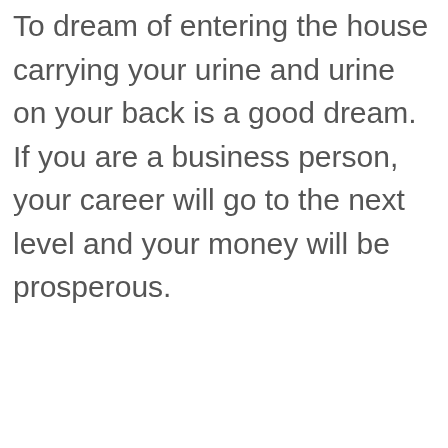To dream of entering the house carrying your urine and urine on your back is a good dream. If you are a business person, your career will go to the next level and your money will be prosperous.